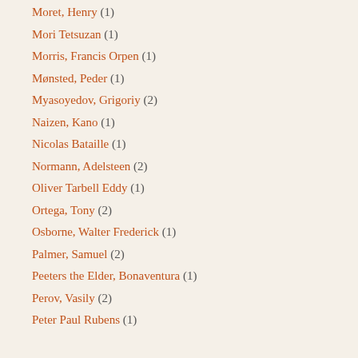Moret, Henry (1)
Mori Tetsuzan (1)
Morris, Francis Orpen (1)
Mønsted, Peder (1)
Myasoyedov, Grigoriy (2)
Naizen, Kano (1)
Nicolas Bataille (1)
Normann, Adelsteen (2)
Oliver Tarbell Eddy (1)
Ortega, Tony (2)
Osborne, Walter Frederick (1)
Palmer, Samuel (2)
Peeters the Elder, Bonaventura (1)
Perov, Vasily (2)
Peter Paul Rubens (1)